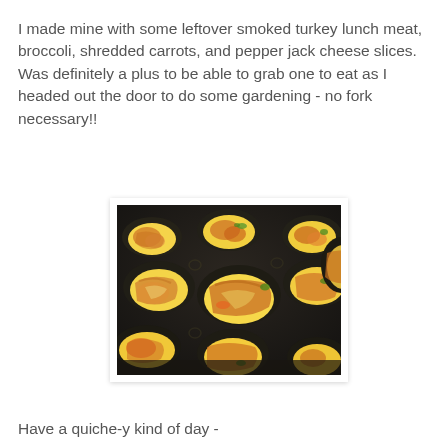I made mine with some leftover smoked turkey lunch meat, broccoli, shredded carrots, and pepper jack cheese slices. Was definitely a plus to be able to grab one to eat as I headed out the door to do some gardening - no fork necessary!!
[Figure (photo): Photo of egg quiche muffins baked in a dark non-stick muffin tin, showing golden-yellow egg cups with turkey, vegetables, and melted cheese on top, viewed from a slight angle.]
Have a quiche-y kind of day -